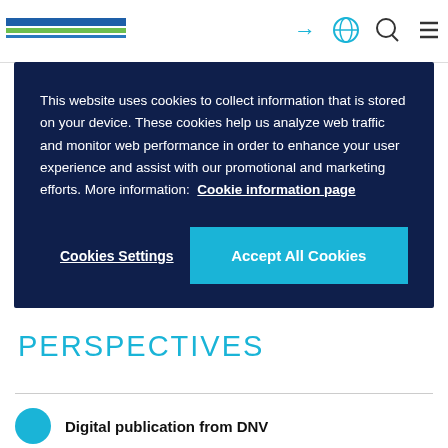[Figure (screenshot): Website navigation bar with DNV logo (blue and green stripes), and icons for login, globe/language, search, and menu on the right]
This website uses cookies to collect information that is stored on your device. These cookies help us analyze web traffic and monitor web performance in order to enhance your user experience and assist with our promotional and marketing efforts. More information: Cookie information page
Cookies Settings
Accept All Cookies
PERSPECTIVES
Digital publication from DNV